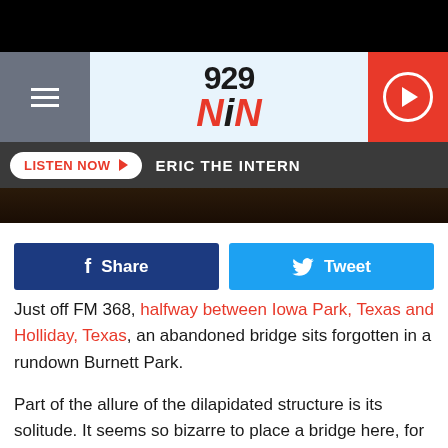[Figure (screenshot): 929 NIN radio station website header with hamburger menu, logo, and play button]
LISTEN NOW ▶   ERIC THE INTERN
[Figure (photo): Dark image strip showing outdoor scene]
f Share
Tweet
Just off FM 368, halfway between Iowa Park, Texas and Holliday, Texas, an abandoned bridge sits forgotten in a rundown Burnett Park.
Part of the allure of the dilapidated structure is its solitude. It seems so bizarre to place a bridge here, for the daily 2016 commuter. The urban legends about this site, and the actual scary events that have happened here, make the old